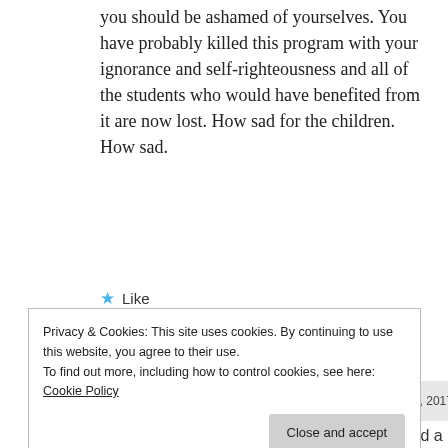you should be ashamed of yourselves. You have probably killed this program with your ignorance and self-righteousness and all of the students who would have benefited from it are now lost. How sad for the children. How sad.
★ Like
Log in to Reply
Barbara Thomas   November 28, 2017 4:15 am
[Figure (other): Pink and red envelope/letter icon (stylized M shape)]
No, not give every child a
Privacy & Cookies: This site uses cookies. By continuing to use this website, you agree to their use.
To find out more, including how to control cookies, see here: Cookie Policy
Close and accept
Helwig is not the principal at this school